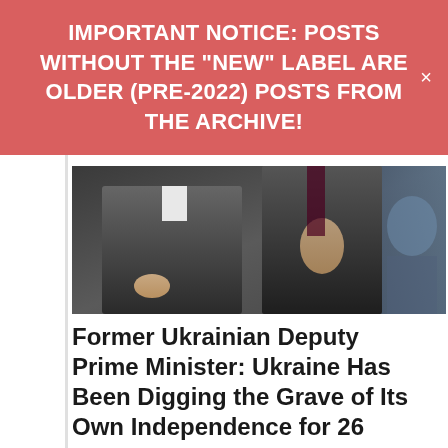IMPORTANT NOTICE: POSTS WITHOUT THE "NEW" LABEL ARE OLDER (PRE-2022) POSTS FROM THE ARCHIVE!
[Figure (photo): Two men in dark suits, partial view showing torsos and hands, appears to be a formal or political setting]
Former Ukrainian Deputy Prime Minister: Ukraine Has Been Digging the Grave of Its Own Independence for 26 Years
Translated by Ollie Richardson 17:26:19 27/04/2018 glavnovosti.com After "Nord Stream-2" is launched Ukraine will lose money for the transit of Russian gas. Such an opinion was